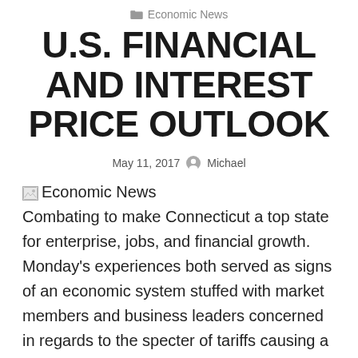Economic News
U.S. FINANCIAL AND INTEREST PRICE OUTLOOK
May 11, 2017   Michael
Combating to make Connecticut a top state for enterprise, jobs, and financial growth. Monday's experiences both served as signs of an economic system stuffed with market members and business leaders concerned in regards to the specter of tariffs causing a recession.